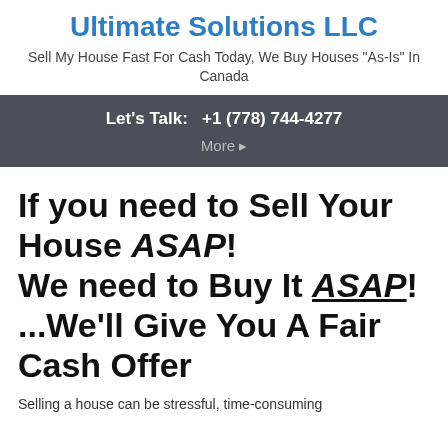Ultimate Solutions LLC
Sell My House Fast For Cash Today, We Buy Houses "As-Is" In Canada
Let's Talk:   +1 (778) 744-4277
More ▸
If you need to Sell Your House ASAP! We need to Buy It ASAP! ...We'll Give You A Fair Cash Offer
Selling a house can be stressful, time-consuming